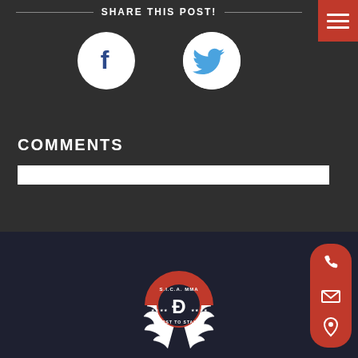SHARE THIS POST!
[Figure (logo): Facebook circular icon - white circle with dark blue Facebook 'f' logo]
[Figure (logo): Twitter circular icon - white circle with blue Twitter bird logo]
COMMENTS
[Figure (other): White input field for comment entry]
[Figure (logo): S.I.C.A MMA 'First to Stand' circular emblem logo with wings and stylized letter D]
[Figure (other): Floating red contact button panel with phone, mail, and location icons]